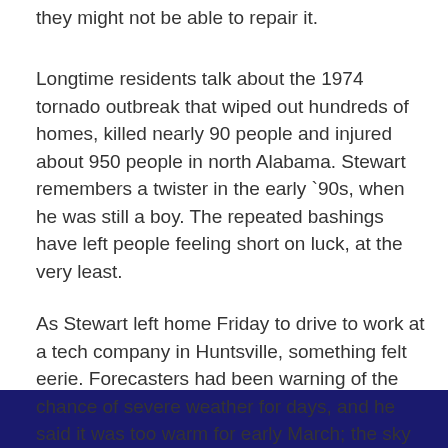they might not be able to repair it.
Longtime residents talk about the 1974 tornado outbreak that wiped out hundreds of homes, killed nearly 90 people and injured about 950 people in north Alabama. Stewart remembers a twister in the early `90s, when he was still a boy. The repeated bashings have left people feeling short on luck, at the very least.
As Stewart left home Friday to drive to work at a tech company in Huntsville, something felt eerie. Forecasters had been warning of the chance of severe weather for days, and he said it was too warm for early March; the sky looked too gray.